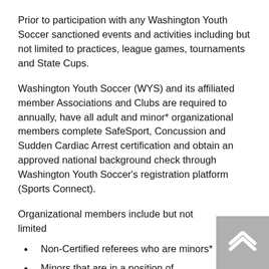Prior to participation with any Washington Youth Soccer sanctioned events and activities including but not limited to practices, league games, tournaments and State Cups.
Washington Youth Soccer (WYS) and its affiliated member Associations and Clubs are required to annually, have all adult and minor* organizational members complete SafeSport, Concussion and Sudden Cardiac Arrest certification and obtain an approved national background check through Washington Youth Soccer's registration platform (Sports Connect).
Organizational members include but not limited
Non-Certified referees who are minors*
Minors that are in a position of leadership or